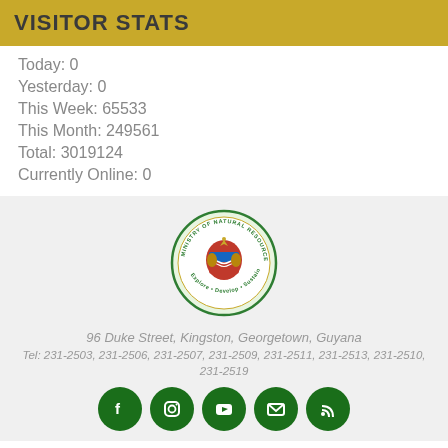VISITOR STATS
Today: 0
Yesterday: 0
This Week: 65533
This Month: 249561
Total: 3019124
Currently Online: 0
[Figure (logo): Ministry of Natural Resources seal/logo — circular seal with coat of arms, text 'MINISTRY OF NATURAL RESOURCES' around top, 'Explore • Develop • Sustain' around bottom]
96 Duke Street, Kingston, Georgetown, Guyana
Tel: 231-2503, 231-2506, 231-2507, 231-2509, 231-2511, 231-2513, 231-2510, 231-2519
[Figure (infographic): Five dark green circular social media icon buttons: Facebook, Instagram, YouTube, Email, RSS]